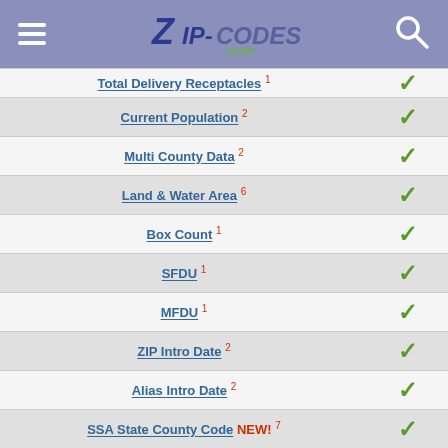Zip-Codes.com
| Field | Available |
| --- | --- |
| Total Delivery Receptacles 1 | ✓ |
| Current Population 2 | ✓ |
| Multi County Data 2 | ✓ |
| Land & Water Area 6 | ✓ |
| Box Count 1 | ✓ |
| SFDU 1 | ✓ |
| MFDU 1 | ✓ |
| ZIP Intro Date 2 | ✓ |
| Alias Intro Date 2 | ✓ |
| SSA State County Code NEW! 7 | ✓ |
| Medicare CBSA Code NEW! 7 | ✓ |
| Medicare CBSA Name NEW! 7 | ✓ |
| Medicare CBSA Type NEW! 7 | ✓ |